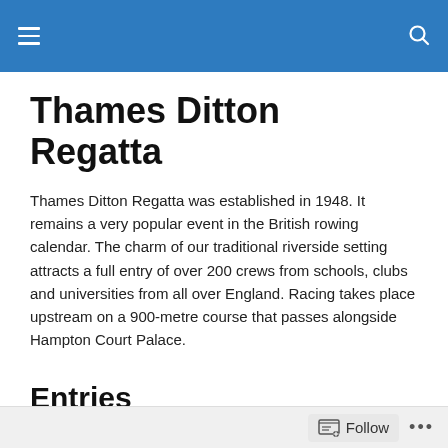Thames Ditton Regatta website header with navigation menu and search
Thames Ditton Regatta
Thames Ditton Regatta was established in 1948. It remains a very popular event in the British rowing calendar. The charm of our traditional riverside setting attracts a full entry of over 200 crews from schools, clubs and universities from all over England. Racing takes place upstream on a 900-metre course that passes alongside Hampton Court Palace.
Entries
Thames Ditton Regatta is held under the Rules of British Rowing. The next edition is on Saturday, 14 May 2022.
Follow